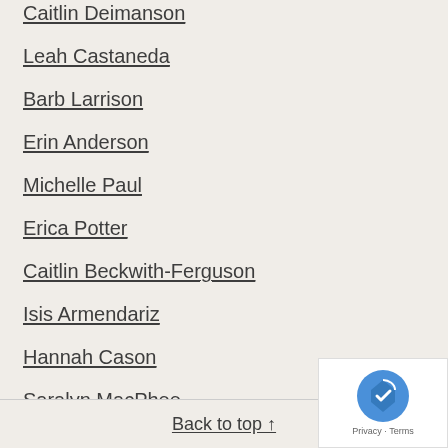Caitlin Deimanson
Leah Castaneda
Barb Larrison
Erin Anderson
Michelle Paul
Erica Potter
Caitlin Beckwith-Ferguson
Isis Armendariz
Hannah Cason
Saralyn MacPhee
Vera Hyatt
Stefani Baker
Heidi Long
Back to top ↑